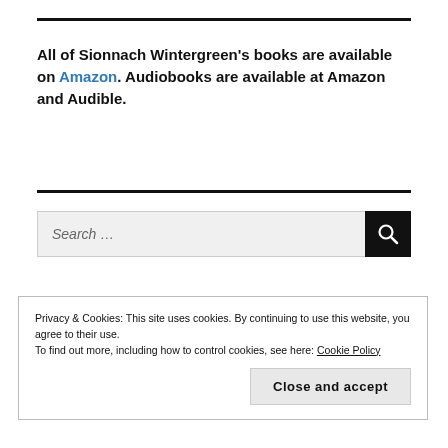All of Sionnach Wintergreen's books are available on Amazon. Audiobooks are available at Amazon and Audible.
[Figure (other): Search bar with text input field showing 'Search ...' placeholder and a black search button with magnifying glass icon]
Privacy & Cookies: This site uses cookies. By continuing to use this website, you agree to their use.
To find out more, including how to control cookies, see here: Cookie Policy
Close and accept